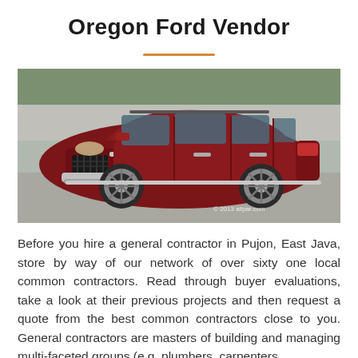Oregon Ford Vendor
[Figure (photo): A dark red/maroon Jeep Grand Cherokee SUV parked in a lot, photographed from the front-left angle. Watermark reads '© 2013 allpar.com'.]
Before you hire a general contractor in Pujon, East Java, store by way of our network of over sixty one local common contractors. Read through buyer evaluations, take a look at their previous projects and then request a quote from the best common contractors close to you. General contractors are masters of building and managing multi-faceted groups (e.g. plumbers, carpenters,